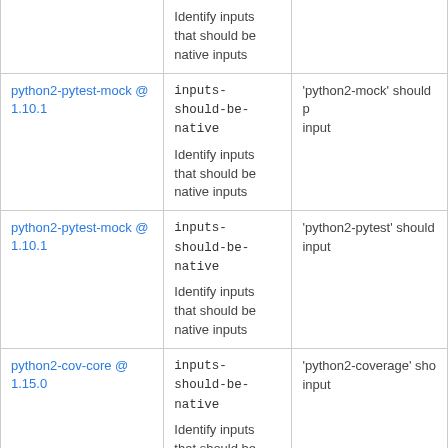|  | inputs-should-be-native / Identify inputs that should be native inputs |  |
| --- | --- | --- |
| python2-pytest-mock @ 1.10.1 | inputs-should-be-native
Identify inputs that should be native inputs | 'python2-mock' should p... input |
| python2-pytest-mock @ 1.10.1 | inputs-should-be-native
Identify inputs that should be native inputs | 'python2-pytest' should... input |
| python2-cov-core @ 1.15.0 | inputs-should-be-native
Identify inputs that should be native inputs | 'python2-coverage' sho... input |